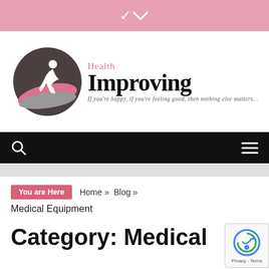▼
[Figure (logo): Health Improving logo: circular icon with dark gray and pink swoosh with running figure silhouette, beside text 'Health Improving' with tagline 'If you're happy, if you're feeling good, then nothing else matters...']
Search | Menu
You are Here  Home »  Blog »  Medical Equipment
Category: Medical